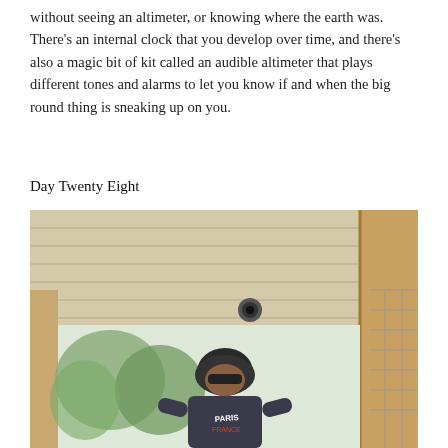without seeing an altimeter, or knowing where the earth was. There's an internal clock that you develop over time, and there's also a magic bit of kit called an audible altimeter that plays different tones and alarms to let you know if and when the big round thing is sneaking up on you.
Day Twenty Eight
[Figure (photo): Low-angle photo looking up at a porch ceiling with wooden planks and a light fixture. A person wearing a dark helmet and a Paris France t-shirt stands below, looking down. Trees and a window/lattice structure are visible in the background.]